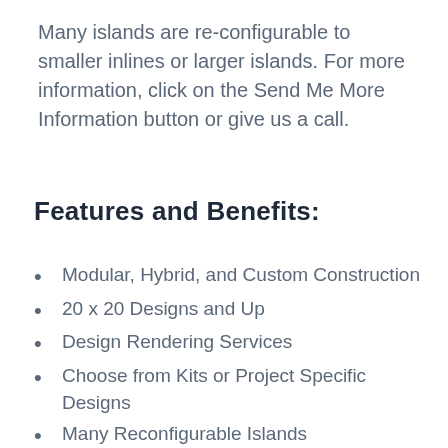Many islands are re-configurable to smaller inlines or larger islands. For more information, click on the Send Me More Information button or give us a call.
Features and Benefits:
Modular, Hybrid, and Custom Construction
20 x 20 Designs and Up
Design Rendering Services
Choose from Kits or Project Specific Designs
Many Reconfigurable Islands
Large Format Graphics